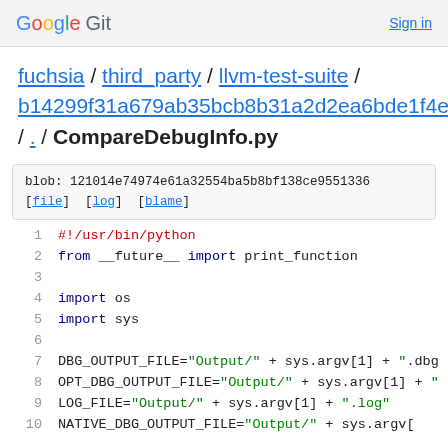Google Git  Sign in
fuchsia / third_party / llvm-test-suite / b14299f31a679ab35bcb8b31a2d2ea6bde1f4e48 / . / CompareDebugInfo.py
blob: 121014e74974e61a32554ba5b8bf138ce9551336 [file] [log] [blame]
1  #!/usr/bin/python
2  from __future__ import print_function
3  
4  import os
5  import sys
6  
7  DBG_OUTPUT_FILE="Output/" + sys.argv[1] + ".dbg
8  OPT_DBG_OUTPUT_FILE="Output/" + sys.argv[1] + "
9  LOG_FILE="Output/" + sys.argv[1] + ".log"
10 NATIVE_DBG_OUTPUT_FILE="Output/" + sys.argv[